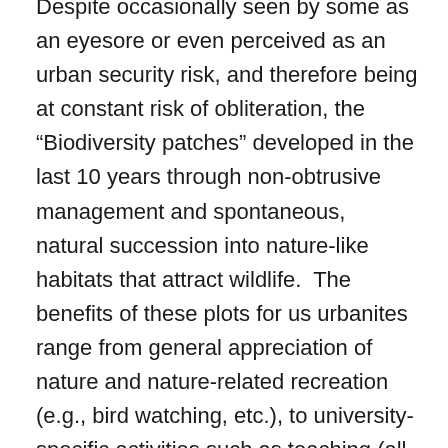Despite occasionally seen by some as an eyesore or even perceived as an urban security risk, and therefore being at constant risk of obliteration, the “Biodiversity patches” developed in the last 10 years through non-obtrusive management and spontaneous, natural succession into nature-like habitats that attract wildlife. The benefits of these plots for us urbanites range from general appreciation of nature and nature-related recreation (e.g., bird watching, etc.), to university-specific activities such as teaching (all field oriented biology courses use these patches) and research. The site is utilized increasingly in science outreach to the student body and to residents of surrounding neighborhoods in activities such as Earth Day plantings and annual BioBlitzes, and is featured as a campus highlight and fund raising asset during open houses and alumni functions. All this showcases that